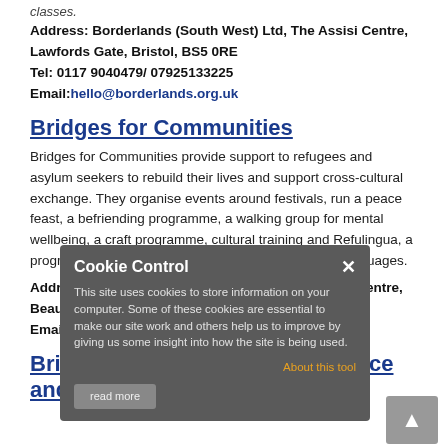classes.
Address: Borderlands (South West) Ltd, The Assisi Centre, Lawfords Gate, Bristol, BS5 0RE
Tel: 0117 9040479/ 07925133225
Email: hello@borderlands.org.uk
Bridges for Communities
Bridges for Communities provide support to refugees and asylum seekers to rebuild their lives and support cross-cultural exchange. They organise events around festivals, run a peace feast, a befriending programme, a walking group for mental wellbeing, a craft programme, cultural training and Refulingua, a programme for refugees to teach others their native languages.
Address: Bridges for Communities, Easton Family Centre, Beaufort Street, Bristol, BS5 0SQ
Email: info@bridgesforcommunities.com
Brigstowe Project - Migrant Advice and Support Service